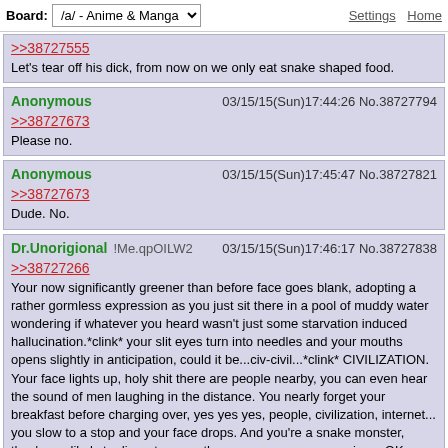Board: /a/ - Anime & Manga   Settings  Home
>>38727555
Let's tear off his dick, from now on we only eat snake shaped food.
Anonymous   03/15/15(Sun)17:44:26 No.38727794
>>38727673
Please no.
Anonymous   03/15/15(Sun)17:45:47 No.38727821
>>38727673
Dude. No.
Dr.Unorigional !Me.qpOILW2   03/15/15(Sun)17:46:17 No.38727838
>>38727266
Your now significantly greener than before face goes blank, adopting a rather gormless expression as you just sit there in a pool of muddy water wondering if whatever you heard wasn't just some starvation induced hallucination.*clink* your slit eyes turn into needles and your mouths opens slightly in anticipation, could it be...civ-civil...*clink* CIVILIZATION. Your face lights up, holy shit there are people nearby, you can even hear the sound of men laughing in the distance. You nearly forget your breakfast before charging over, yes yes yes, people, civilization, internet... you slow to a stop and your face drops. And you're a snake monster, they're as likely to dissect you as they are run away screaming....OK normally you wouldn't include the